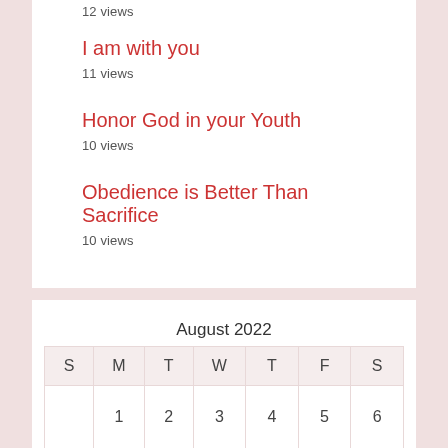12 views
I am with you
11 views
Honor God in your Youth
10 views
Obedience is Better Than Sacrifice
10 views
| S | M | T | W | T | F | S |
| --- | --- | --- | --- | --- | --- | --- |
|  | 1 | 2 | 3 | 4 | 5 | 6 |
| 7 | 8 | 9 | 10 | 11 | 12 | 13 |